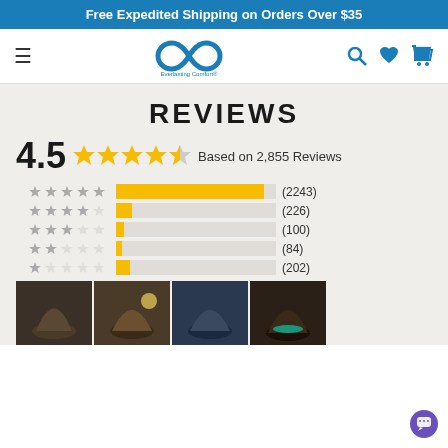Free Expedited Shipping on Orders Over $35
[Figure (logo): Everlasting Comfort infinity loop logo with navigation bar including hamburger menu, search, heart, and cart icons]
REVIEWS
4.5 ★★★★½ Based on 2,855 Reviews
[Figure (bar-chart): Rating Breakdown]
[Figure (photo): Strip of four product photos showing a dark humidifier/diffuser from various angles]